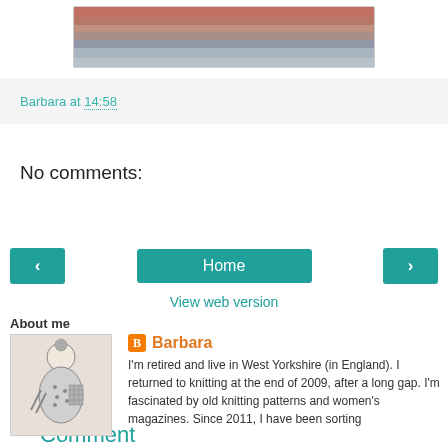[Figure (photo): Partial view of a knitted item showing multicolored yarn stripes in pink, beige, grey and blue tones]
Barbara at 14:58
No comments:
Post a Comment
[Figure (infographic): Navigation buttons: left arrow, Home, right arrow]
View web version
About me
[Figure (illustration): Black and white illustration of a woman knitting]
Barbara
I'm retired and live in West Yorkshire (in England). I returned to knitting at the end of 2009, after a long gap. I'm fascinated by old knitting patterns and women's magazines. Since 2011, I have been sorting